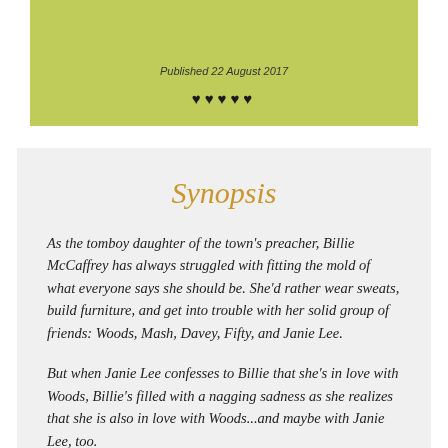[Figure (other): Yellow-green banner with italic published date text and five heart symbols]
Synopsis
As the tomboy daughter of the town's preacher, Billie McCaffrey has always struggled with fitting the mold of what everyone says she should be. She'd rather wear sweats, build furniture, and get into trouble with her solid group of friends: Woods, Mash, Davey, Fifty, and Janie Lee.
But when Janie Lee confesses to Billie that she's in love with Woods, Billie's filled with a nagging sadness as she realizes that she is also in love with Woods...and maybe with Janie Lee, too.